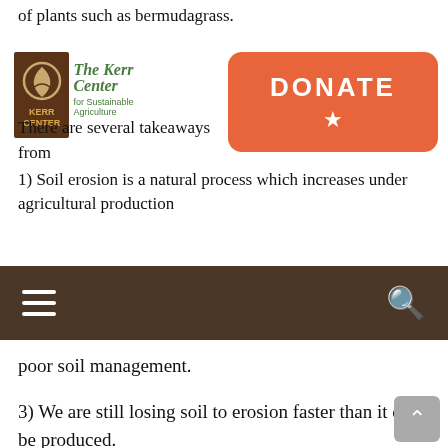of plants such as bermudagrass.
[Figure (logo): The Kerr Center for Sustainable Agriculture logo — brown square with wheat/leaf icon and KERR CENTER text, with green organization name beside it]
[Figure (other): Orange rounded rectangle donate button with DONATE text and star icon]
There are several takeaways from
1) Soil erosion is a natural process which increases under agricultural production
[Figure (other): Dark brown navigation bar with hamburger menu icon on left and search magnifying glass icon on right]
poor soil management.
3) We are still losing soil to erosion faster than it can be produced.
4) While we don't have the answer, it should be obvious that there is no one practice or set of practices that will work everywhere. Soil erosion must be dealt with using the most effective locally based systems. Some areas of the world can only keep soil erosion down by maintaining permanent cover, such as pasture/rangeland or forestland. Areas that can be